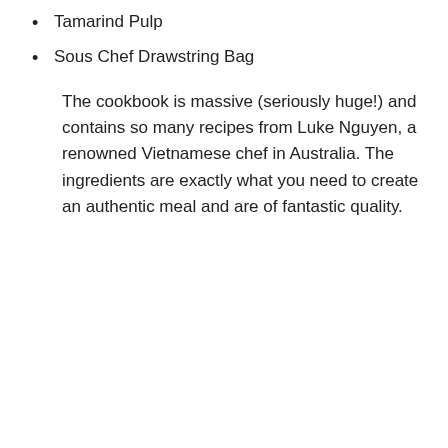Tamarind Pulp
Sous Chef Drawstring Bag
The cookbook is massive (seriously huge!) and contains so many recipes from Luke Nguyen, a renowned Vietnamese chef in Australia. The ingredients are exactly what you need to create an authentic meal and are of fantastic quality.